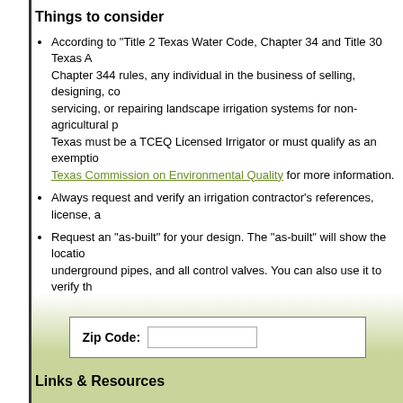Things to consider
According to "Title 2 Texas Water Code, Chapter 34 and Title 30 Texas A... Chapter 344 rules, any individual in the business of selling, designing, co... servicing, or repairing landscape irrigation systems for non-agricultural p... Texas must be a TCEQ Licensed Irrigator or must qualify as an exemptio... Texas Commission on Environmental Quality for more information.
Always request and verify an irrigation contractor's references, license, a...
Request an "as-built" for your design. The "as-built" will show the locatio... underground pipes, and all control valves. You can also use it to verify th... conforms to the initial design and bid.
Ensure both you and your contractor understand fully the warranties, lim... requirements of any signed contract.
Ask your contractor what is required to maintain your new irrigation syste... services are included in your contract?
[Figure (screenshot): Zip Code input form with label and text field]
Links & Resources
Irrigation and Expansive Clay Soils
Savvy Gardeners Hydrozone
Irrigation Tips from Southern Nevada Water Authority